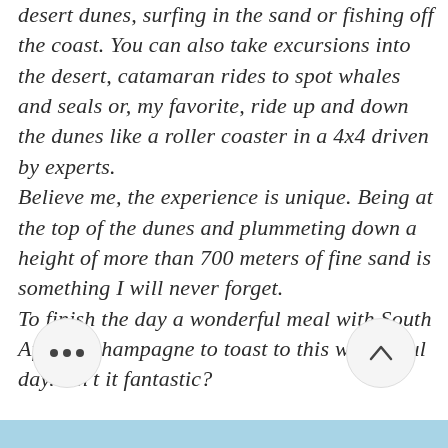desert dunes, surfing in the sand or fishing off the coast. You can also take excursions into the desert, catamaran rides to spot whales and seals or, my favorite, ride up and down the dunes like a roller coaster in a 4x4 driven by experts. Believe me, the experience is unique. Being at the top of the dunes and plummeting down a height of more than 700 meters of fine sand is something I will never forget. To finish the day a wonderful meal with South African champagne to toast to this wonderful day. Isn't it fantastic?